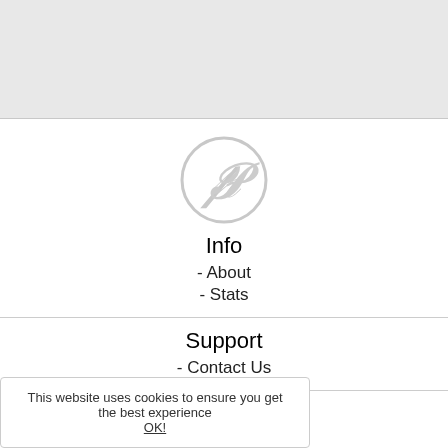[Figure (logo): Circular logo with a stylized P letter inside, light gray color]
Info
- About
- Stats
Support
- Contact Us
Developers
- API
- FMS Specification
Legal
- Terms
- Privacy
This website uses cookies to ensure you get the best experience OK!